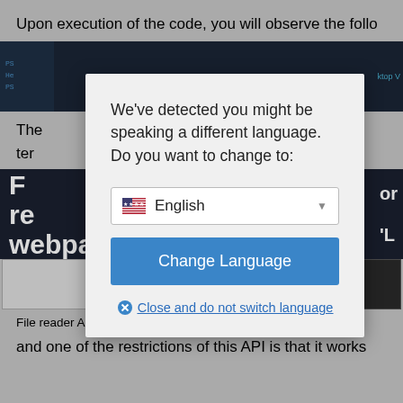Upon execution of the code, you will observe the follo
[Figure (screenshot): Dark IDE or code editor screenshot strip showing code lines]
The [text truncated by modal] the ter
[Figure (screenshot): Dark webpage/browser screenshot strip showing 'F r re webpag' text and 'L' character on dark background]
[Figure (screenshot): Language change modal dialog overlay with text: We've detected you might be speaking a different language. Do you want to change to: [English dropdown] [Change Language button] [Close and do not switch language link]]
OK
Learn more
File reader API only works with HTML web pages,
and one of the restrictions of this API is that it works